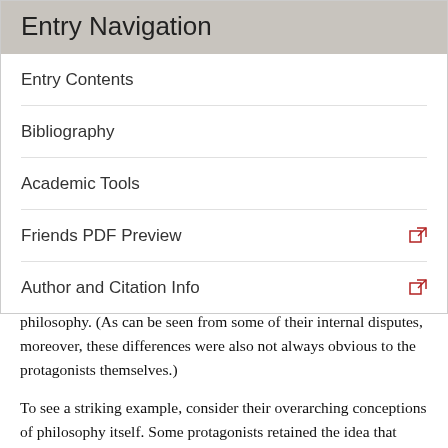Entry Navigation
Entry Contents
Bibliography
Academic Tools
Friends PDF Preview
Author and Citation Info
philosophy. (As can be seen from some of their internal disputes, moreover, these differences were also not always obvious to the protagonists themselves.)
To see a striking example, consider their overarching conceptions of philosophy itself. Some protagonists retained the idea that philosophy possessed a separate disciplinary identity from science and, like Schlick, turned philosophy into a distinctive, albeit non-formal activity of meaning determination. Others, like Carnap, agreed on the distinction between philosophy and science but turned philosophy into a purely formal enterprise, the